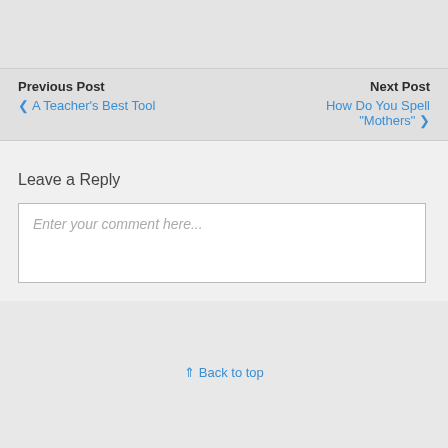Previous Post
‹ A Teacher's Best Tool
Next Post
How Do You Spell "Mothers" ›
Leave a Reply
Enter your comment here...
⇑ Back to top